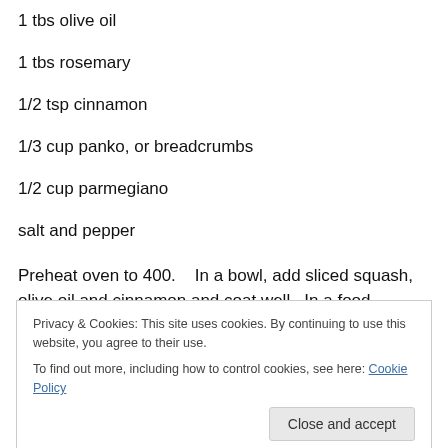1 tbs olive oil
1 tbs rosemary
1/2 tsp cinnamon
1/3 cup panko, or breadcrumbs
1/2 cup parmegiano
salt and pepper
Preheat oven to 400.   In a bowl, add sliced squash, olive oil and cinnamon and coat well.  In a food processor, pulse
lightly oiled baking sheet and sprinkle the rosemary on
Privacy & Cookies: This site uses cookies. By continuing to use this website, you agree to their use.
To find out more, including how to control cookies, see here: Cookie Policy